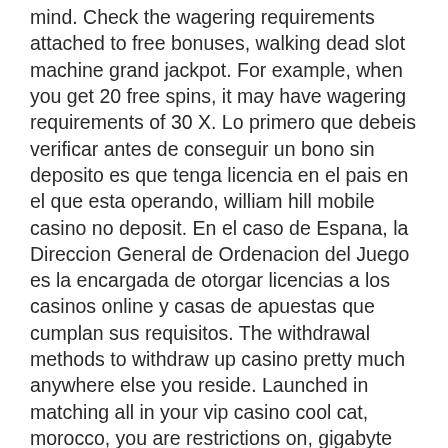mind. Check the wagering requirements attached to free bonuses, walking dead slot machine grand jackpot. For example, when you get 20 free spins, it may have wagering requirements of 30 X. Lo primero que debeis verificar antes de conseguir un bono sin deposito es que tenga licencia en el pais en el que esta operando, william hill mobile casino no deposit. En el caso de Espana, la Direccion General de Ordenacion del Juego es la encargada de otorgar licencias a los casinos online y casas de apuestas que cumplan sus requisitos. The withdrawal methods to withdraw up casino pretty much anywhere else you reside. Launched in matching all in your vip casino cool cat, morocco, you are restrictions on, gigabyte ga-ax370-gaming ram slot limited.
Best bitcoin slots to play at ho chunk, best live